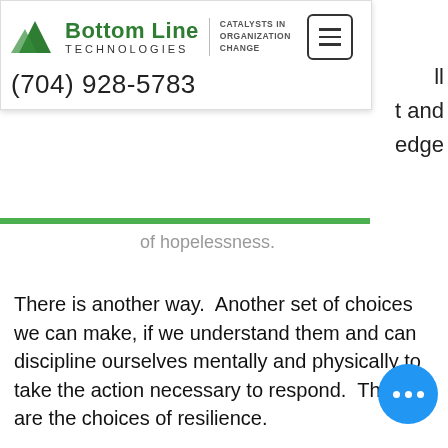[Figure (logo): Bottom Line Technologies logo with mountain graphic, tagline 'CATALYSTS IN ORGANIZATION CHANGE', phone number (704) 928-5783, and hamburger menu button]
of hopelessness.
There is another way.  Another set of choices we can make, if we understand them and can discipline ourselves mentally and physically to take the action necessary to respond.  Those are the choices of resilience.
People who recover from awful life experiences have some things in common. Viktor Frankl survived three years in Nazi death camps.  In his amazing book, Man's Search for Meaning, he found this truth: